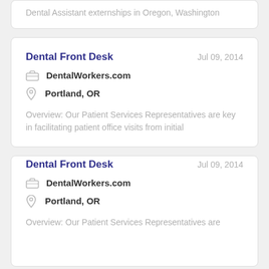Dental Assistant externships in Oregon, Washington
Dental Front Desk
Jul 09, 2014
DentalWorkers.com
Portland, OR
Overview: Our Patient Services Representatives are key in facilitating patient office visits from initial
Dental Front Desk
Jul 09, 2014
DentalWorkers.com
Portland, OR
Overview: Our Patient Services Representatives are